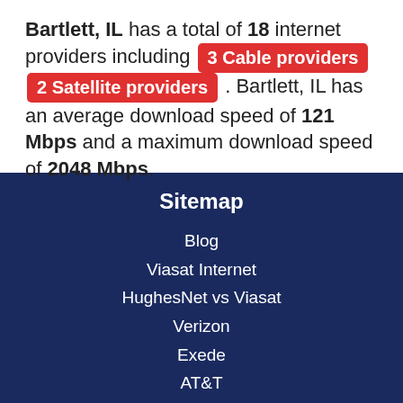Bartlett, IL has a total of 18 internet providers including 3 Cable providers 2 Satellite providers . Bartlett, IL has an average download speed of 121 Mbps and a maximum download speed of 2048 Mbps.
Sitemap
Blog
Viasat Internet
HughesNet vs Viasat
Verizon
Exede
AT&T
Covering...